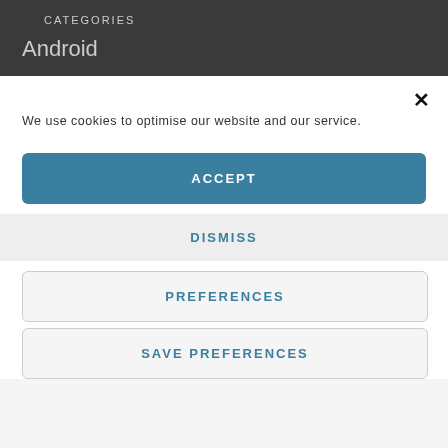CATEGORIES
Android
We use cookies to optimise our website and our service.
ACCEPT
DISMISS
PREFERENCES
SAVE PREFERENCES